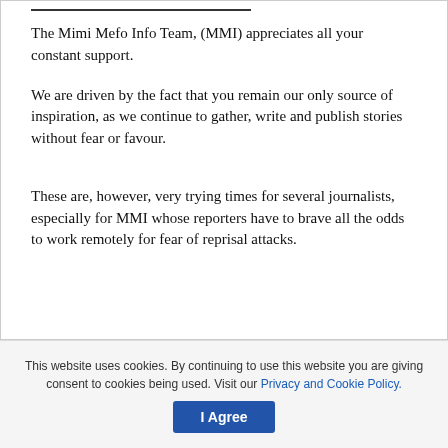The Mimi Mefo Info Team, (MMI) appreciates all your constant support.
We are driven by the fact that you remain our only source of inspiration, as we continue to gather, write and publish stories without fear or favour.
These are, however, very trying times for several journalists, especially for MMI whose reporters have to brave all the odds to work remotely for fear of reprisal attacks.
This website uses cookies. By continuing to use this website you are giving consent to cookies being used. Visit our Privacy and Cookie Policy.